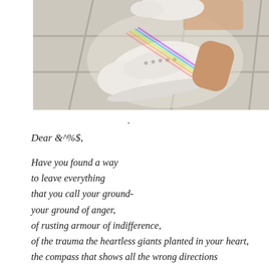[Figure (photo): A photo taken from above showing a white sneaker/canvas shoe on a light beige tile floor. Rainbow prismatic light reflections are visible on the shoe and floor. A person's leg/foot is partially visible wearing the shoe.]
.
Dear &^%$,
Have you found a way
to leave everything
that you call your ground-
your ground of anger,
of rusting armour of indifference,
of the trauma the heartless giants planted in your heart,
the compass that shows all the wrong directions